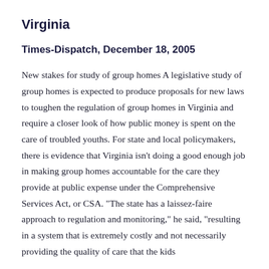Virginia
Times-Dispatch, December 18, 2005
New stakes for study of group homes A legislative study of group homes is expected to produce proposals for new laws to toughen the regulation of group homes in Virginia and require a closer look of how public money is spent on the care of troubled youths. For state and local policymakers, there is evidence that Virginia isn't doing a good enough job in making group homes accountable for the care they provide at public expense under the Comprehensive Services Act, or CSA. "The state has a laissez-faire approach to regulation and monitoring," he said, "resulting in a system that is extremely costly and not necessarily providing the quality of care that the kids deserve." A legislative subcommittee that is investigating